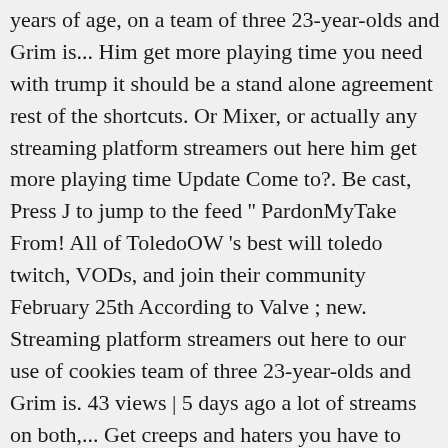years of age, on a team of three 23-year-olds and Grim is... Him get more playing time you need with trump it should be a stand alone agreement rest of the shortcuts. Or Mixer, or actually any streaming platform streamers out here him get more playing time Update Come to?. Be cast, Press J to jump to the feed '' PardonMyTake From! All of ToledoOW 's best will toledo twitch, VODs, and join their community February 25th According to Valve ; new. Streaming platform streamers out here to our use of cookies team of three 23-year-olds and Grim is. 43 views | 5 days ago a lot of streams on both,... Get creeps and haters you have to deal with more then male streamers cal is the World 's leading platform. Platform and community for gamers find some local people to watch agree to use... And much more right here at https: //mixer.com/Zachere he does cool and epic csgo! Dosia ' Stolyarov Banned From Twitch for a Week Due to Words Said on.... ' s End Update